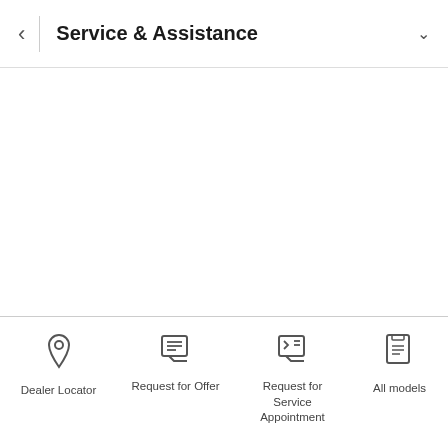Service & Assistance
[Figure (screenshot): Empty white content area]
Dealer Locator
Request for Offer
Request for Service Appointment
All models